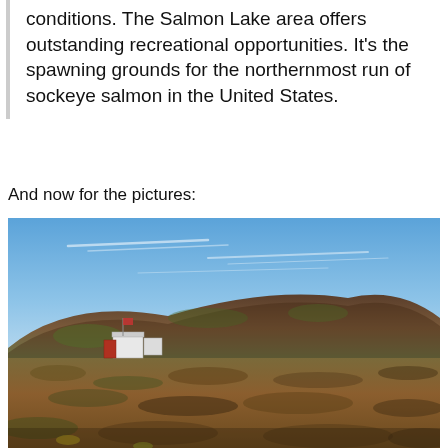conditions. The Salmon Lake area offers outstanding recreational opportunities. It's the spawning grounds for the northernmost run of sockeye salmon in the United States.
And now for the pictures:
[Figure (photo): Outdoor landscape photograph showing a wide open tundra plain with low reddish-brown and green vegetation. A small cluster of white buildings sits on the left side of the image. A broad, gently rounded hill or mountain rises in the background under a blue sky with wispy high clouds.]